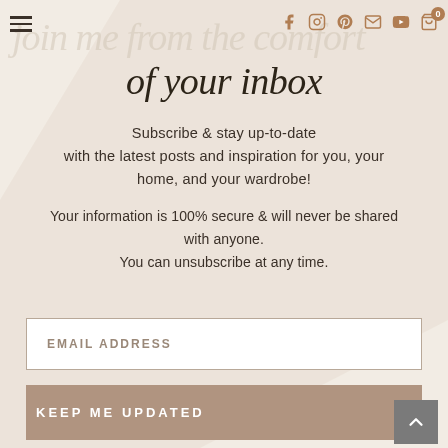join me from the comfort
of your inbox
Subscribe & stay up-to-date with the latest posts and inspiration for you, your home, and your wardrobe!
Your information is 100% secure & will never be shared with anyone.
You can unsubscribe at any time.
EMAIL ADDRESS
KEEP ME UPDATED